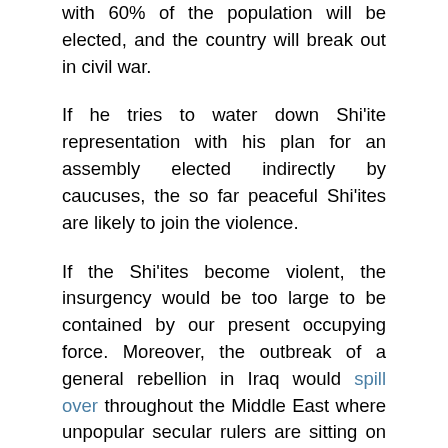with 60% of the population will be elected, and the country will break out in civil war.
If he tries to water down Shi'ite representation with his plan for an assembly elected indirectly by caucuses, the so far peaceful Shi'ites are likely to join the violence.
If the Shi'ites become violent, the insurgency would be too large to be contained by our present occupying force. Moreover, the outbreak of a general rebellion in Iraq would spill over throughout the Middle East where unpopular secular rulers are sitting on a smoldering Islam.
Our puppet in Pakistan would likely bite the dust. Israel would then face countervailing Muslim nukes.
If you think more US troops are needed now in Iraq, imagine how many more would be required to deal with